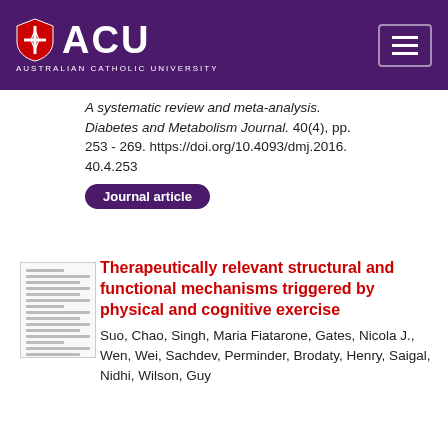[Figure (logo): Australian Catholic University (ACU) logo with shield and text on purple header bar]
A systematic review and meta-analysis. Diabetes and Metabolism Journal. 40(4), pp. 253 - 269. https://doi.org/10.4093/dmj.2016.40.4.253
Journal article
[Figure (photo): Thumbnail image of a journal article document page]
Therapeutically relevant structural and functional mechanisms triggered by physical and cognitive exercise
Suo, Chao, Singh, Maria Fiatarone, Gates, Nicola J., Wen, Wei, Sachdev, Perminder, Brodaty, Henry, Saigal, Nidhi, Wilson, Guy